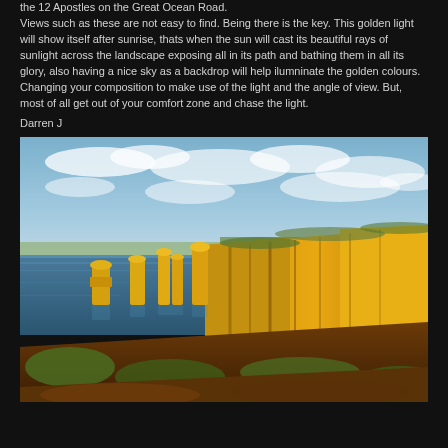the 12 Apostles on the Great Ocean Road. Views such as these are not easy to find. Being there is the key. This golden light will show itself after sunrise, thats when the sun will cast its beautiful rays of sunlight across the landscape exposing all in its path and bathing them in all its glory, also having a nice sky as a backdrop will help ilumninate the golden colours. Changing your composition to make use of the light and the angle of view. But, most of all get out of your comfort zone and chase the light.
Darren J
[Figure (photo): Landscape photograph of the 12 Apostles on the Great Ocean Road, showing golden limestone sea stacks rising from the ocean beside rugged coastal cliffs bathed in warm golden sunlight under a partly cloudy blue sky.]